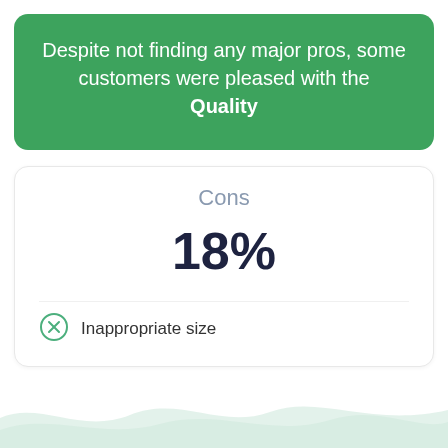Despite not finding any major pros, some customers were pleased with the Quality
Cons
18%
Inappropriate size